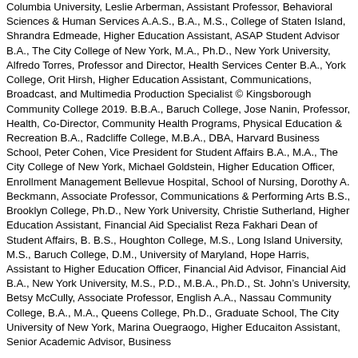Columbia University, Leslie Arberman, Assistant Professor, Behavioral Sciences & Human Services A.A.S., B.A., M.S., College of Staten Island, Shrandra Edmeade, Higher Education Assistant, ASAP Student Advisor B.A., The City College of New York, M.A., Ph.D., New York University, Alfredo Torres, Professor and Director, Health Services Center B.A., York College, Orit Hirsh, Higher Education Assistant, Communications, Broadcast, and Multimedia Production Specialist © Kingsborough Community College 2019. B.B.A., Baruch College, Jose Nanin, Professor, Health, Co-Director, Community Health Programs, Physical Education & Recreation B.A., Radcliffe College, M.B.A., DBA, Harvard Business School, Peter Cohen, Vice President for Student Affairs B.A., M.A., The City College of New York, Michael Goldstein, Higher Education Officer, Enrollment Management Bellevue Hospital, School of Nursing, Dorothy A. Beckmann, Associate Professor, Communications & Performing Arts B.S., Brooklyn College, Ph.D., New York University, Christie Sutherland, Higher Education Assistant, Financial Aid Specialist Reza Fakhari Dean of Student Affairs, B. B.S., Houghton College, M.S., Long Island University, M.S., Baruch College, D.M., University of Maryland, Hope Harris, Assistant to Higher Education Officer, Financial Aid Advisor, Financial Aid B.A., New York University, M.S., P.D., M.B.A., Ph.D., St. John's University, Betsy McCully, Associate Professor, English A.A., Nassau Community College, B.A., M.A., Queens College, Ph.D., Graduate School, The City University of New York, Marina Ouegraogo, Higher Educaiton Assistant, Senior Academic Advisor, Business